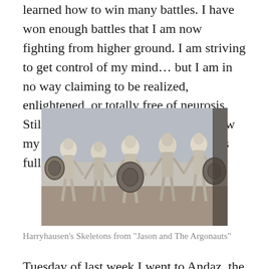learned how to win many battles. I have won enough battles that I am now fighting from higher ground. I am striving to get control of my mind… but I am in no way claiming to be realized, enlightened, or totally free of neurosis. Still, I feel some pressure to never show my weaknesses lest they dismiss me as full of shit.
[Figure (photo): Black and white photograph of Harryhausen's stop-motion skeleton warriors holding shields, from the film Jason and the Argonauts]
Harryhausen's Skeletons from "Jason and The Argonauts"
Tuesday of last week I went to Andaz, the Indian